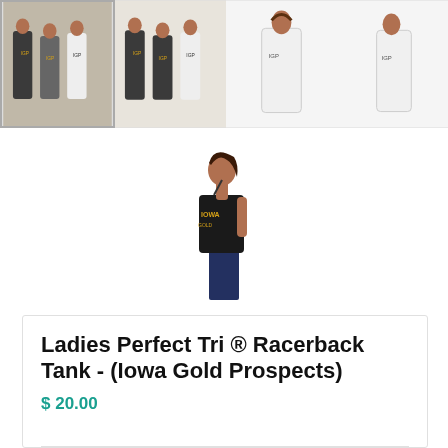[Figure (photo): Four thumbnail images of Ladies Perfect Tri Racerback Tank in various colors (dark, gray, white, white) showing multiple models or single models wearing the tank top. First thumbnail is selected/highlighted with a border.]
[Figure (photo): Main product image showing a woman in profile view wearing a black sleeveless racerback tank top with jeans.]
Ladies Perfect Tri ® Racerback Tank - (Iowa Gold Prospects)
$ 20.00